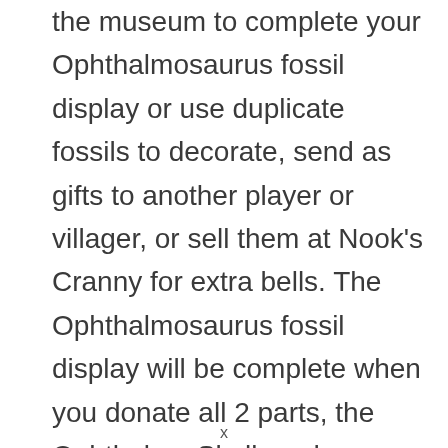the museum to complete your Ophthalmosaurus fossil display or use duplicate fossils to decorate, send as gifts to another player or villager, or sell them at Nook's Cranny for extra bells. The Ophthalmosaurus fossil display will be complete when you donate all 2 parts, the Ophthalmo Skull, and Ophthalmo Torso.
x